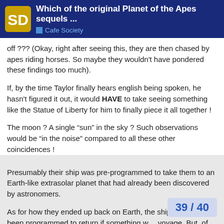Which of the original Planet of the Apes sequels ... | Cafe Society
off ??? (Okay, right after seeing this, they are then chased by apes riding horses. So maybe they wouldn't have pondered these findings too much).
If, by the time Taylor finally hears english being spoken, he hasn't figured it out, it would HAVE to take seeing something like the Statue of Liberty for him to finally piece it all together !
The moon ? A single “sun” in the sky ? Such observations would be “in the noise” compared to all these other coincidences !
Presumably their ship was pre-programmed to take them to an Earth-like extrasolar planet that had already been discovered by astronomers.
As for how they ended up back on Earth, the ship could have been programmed to return if something w… voyage. But, of course, the astronauts wou…
39 / 40